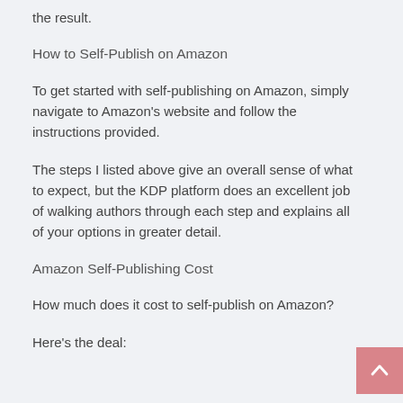the result.
How to Self-Publish on Amazon
To get started with self-publishing on Amazon, simply navigate to Amazon's website and follow the instructions provided.
The steps I listed above give an overall sense of what to expect, but the KDP platform does an excellent job of walking authors through each step and explains all of your options in greater detail.
Amazon Self-Publishing Cost
How much does it cost to self-publish on Amazon?
Here's the deal: